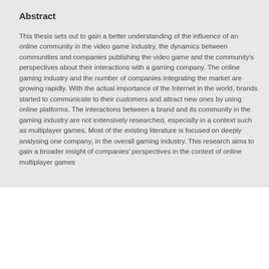Abstract
This thesis sets out to gain a better understanding of the influence of an online community in the video game industry, the dynamics between communities and companies publishing the video game and the community's perspectives about their interactions with a gaming company. The online gaming industry and the number of companies integrating the market are growing rapidly. With the actual importance of the Internet in the world, brands started to communicate to their customers and attract new ones by using online platforms. The interactions between a brand and its community in the gaming industry are not extensively researched, especially in a context such as multiplayer games. Most of the existing literature is focused on deeply analysing one company, in the overall gaming industry. This research aims to gain a broader insight of companies' perspectives in the context of online multiplayer games
We use cookies to analyse and improve our service. Cookie Policy